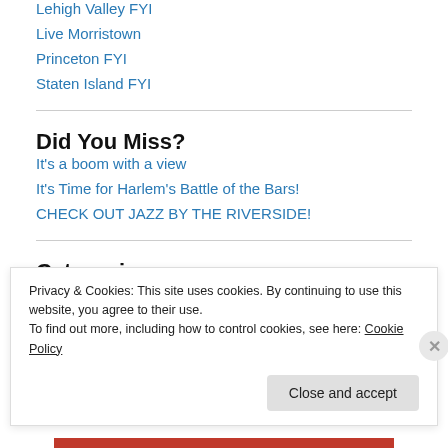Lehigh Valley FYI
Live Morristown
Princeton FYI
Staten Island FYI
Did You Miss?
It's a boom with a view
It's Time for Harlem's Battle of the Bars!
CHECK OUT JAZZ BY THE RIVERSIDE!
Categories
Privacy & Cookies: This site uses cookies. By continuing to use this website, you agree to their use.
To find out more, including how to control cookies, see here: Cookie Policy
Close and accept